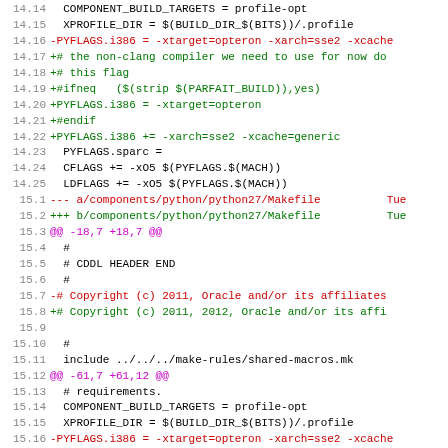[Figure (screenshot): Diff/patch output showing changes to Makefile components for python27, with line numbers, colored additions (green), deletions (red), context (black), and hunk headers (magenta).]